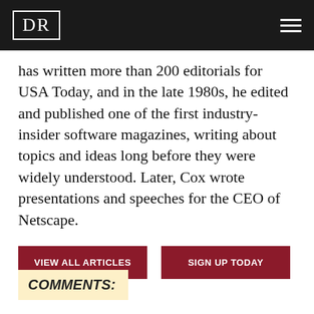DR
has written more than 200 editorials for USA Today, and in the late 1980s, he edited and published one of the first industry-insider software magazines, writing about topics and ideas long before they were widely understood. Later, Cox wrote presentations and speeches for the CEO of Netscape.
VIEW ALL ARTICLES
SIGN UP TODAY
COMMENTS: